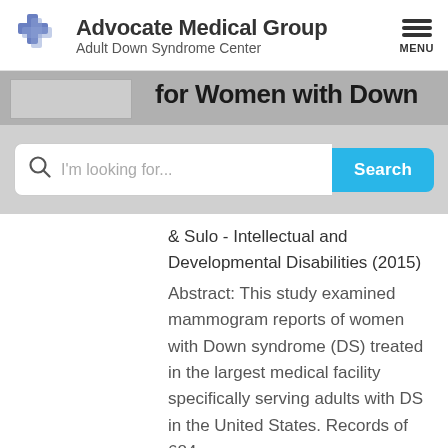[Figure (logo): Advocate Medical Group logo with blue cross and text. Header also shows Adult Down Syndrome Center subtitle and MENU hamburger icon.]
for Women with Down
[Figure (screenshot): Search bar with magnifying glass icon, placeholder text 'I'm looking for...', and a blue Search button on the right.]
& Sulo - Intellectual and Developmental Disabilities (2015)
Abstract: This study examined mammogram reports of women with Down syndrome (DS) treated in the largest medical facility specifically serving adults with DS in the United States. Records of 684 women